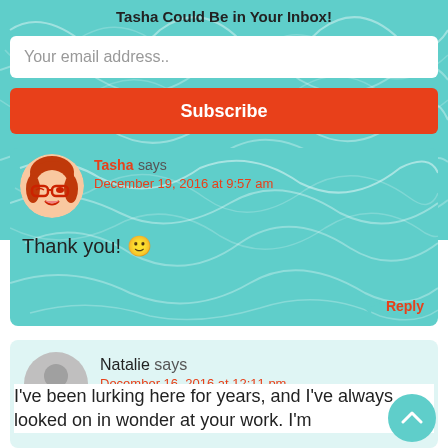Tasha Could Be in Your Inbox!
Your email address..
Subscribe
Tasha says
December 19, 2016 at 9:57 am
Thank you! 🙂
Reply
Natalie says
December 16, 2016 at 12:11 pm
I've been lurking here for years, and I've always looked on in wonder at your work. I'm